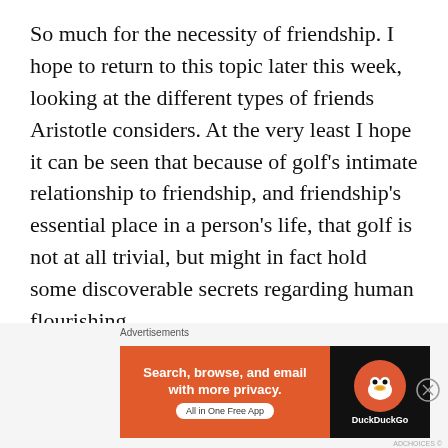So much for the necessity of friendship. I hope to return to this topic later this week, looking at the different types of friends Aristotle considers. At the very least I hope it can be seen that because of golf's intimate relationship to friendship, and friendship's essential place in a person's life, that golf is not at all trivial, but might in fact hold some discoverable secrets regarding human flourishing.
In any event, just consider No Laying Up's
[Figure (other): DuckDuckGo advertisement banner: orange left panel with text 'Search, browse, and email with more privacy. All in One Free App', black right panel with DuckDuckGo duck logo and brand name. 'Advertisements' label above.]